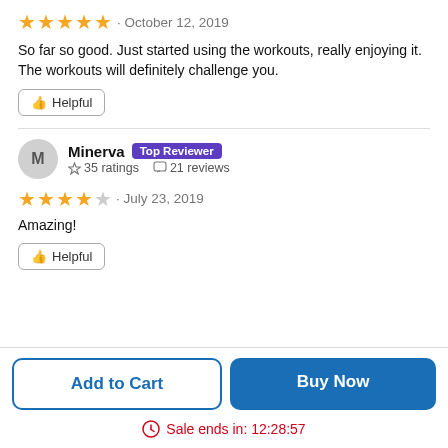★★★★★ · October 12, 2019
So far so good. Just started using the workouts, really enjoying it. The workouts will definitely challenge you.
👍 Helpful
Minerva · Top Reviewer · ☆ 35 ratings · 21 reviews
★★★★☆ · July 23, 2019
Amazing!
👍 Helpful
Add to Cart
Buy Now
Sale ends in: 12:28:57